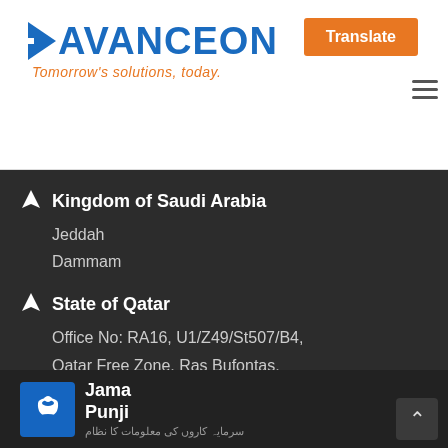[Figure (logo): Avanceon company logo with blue arrow and text, tagline 'Tomorrow's solutions, today.' in orange italic]
Translate
Kingdom of Saudi Arabia
Jeddah
Dammam
State of Qatar
Office No: RA16, U1/Z49/St507/B4, Qatar Free Zone, Ras Bufontas, PO Box: 13565 Doha, Qatar
[Figure (logo): Jama Punji logo — blue square with white pot icon, bold text 'Jama Punji' and Urdu script tagline below]